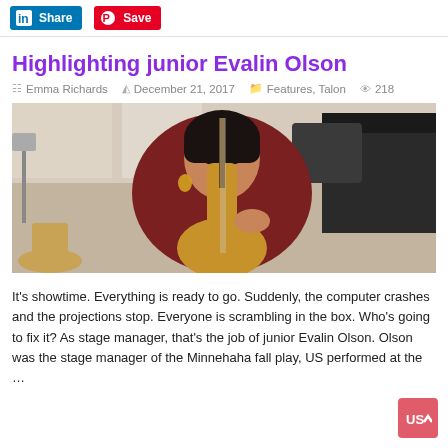Share  Save
Highlighting junior Evalin Olson
Emma Richards  December 21, 2017  Features, Talon  218
[Figure (photo): A young woman in a dark red sweater playing cello in a music room with music stands, chairs, and a piano visible in the background.]
It's showtime. Everything is ready to go. Suddenly, the computer crashes and the projections stop. Everyone is scrambling in the box. Who's going to fix it? As stage manager, that's the job of junior Evalin Olson. Olson was the stage manager of the Minnehaha fall play, US performed at the …